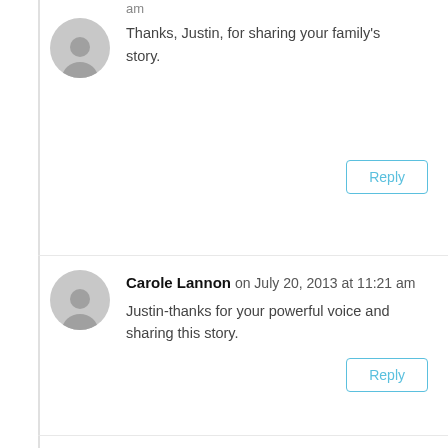am
Thanks, Justin, for sharing your family's story.
Reply
Carole Lannon on July 20, 2013 at 11:21 am
Justin-thanks for your powerful voice and sharing this story.
Reply
Erin on July 20, 2013 at 11:35 am
I appreciate your story and can totally relate! I hope you will continue to write and share so that others can learn and grow from your experiences, and that together we can all